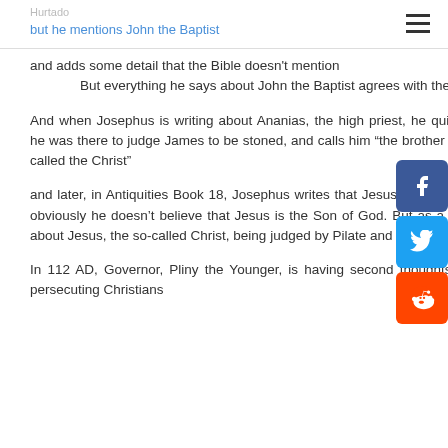Hurtado
but he mentions John the Baptist
and adds some detail that the Bible doesn't mention
        But everything he says about John the Baptist agrees with the New Testament.
And when Josephus is writing about Ananias, the high priest, he quickly mentions that he was there to judge James to be stoned, and calls him “the brother of Jesus, who was called the Christ”
and later, in Antiquities Book 18, Josephus writes that Jesus was a “wise man” – yeah, obviously he doesn’t believe that Jesus is the Son of God. But as a historian he writes about Jesus, the so-called Christ, being judged by Pilate and sent to be crucified.
In 112 AD, Governor, Pliny the Younger, is having second thoughts about killing and persecuting Christians